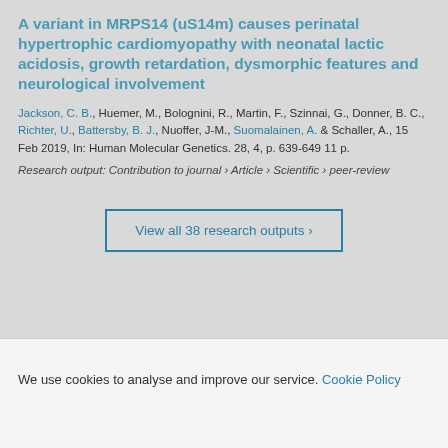A variant in MRPS14 (uS14m) causes perinatal hypertrophic cardiomyopathy with neonatal lactic acidosis, growth retardation, dysmorphic features and neurological involvement
Jackson, C. B., Huemer, M., Bolognini, R., Martin, F., Szinnai, G., Donner, B. C., Richter, U., Battersby, B. J., Nuoffer, J-M., Suomalainen, A. & Schaller, A., 15 Feb 2019, In: Human Molecular Genetics. 28, 4, p. 639-649 11 p.
Research output: Contribution to journal › Article › Scientific › peer-review
View all 38 research outputs
Activities
We use cookies to analyse and improve our service. Cookie Policy